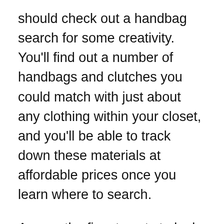should check out a handbag search for some creativity. You'll find out a number of handbags and clutches you could match with just about any clothing within your closet, and you'll be able to track down these materials at affordable prices once you learn where to search.
Among the finest spots to look at up an online ladies handbag retail outlet is on the net auction internet site Craigslist and ebay. You can be a dealer on the website, and may advertise your organization on the net in order that folks looking for handbags can go to your